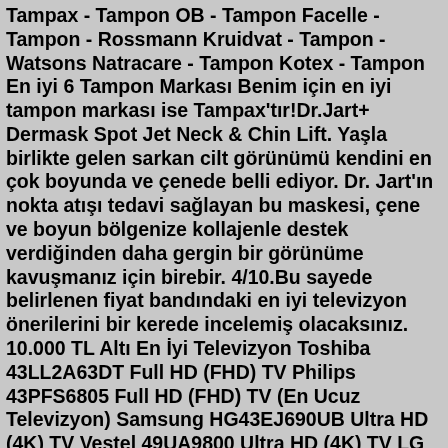Tampax - Tampon OB - Tampon Facelle - Tampon - Rossmann Kruidvat - Tampon - Watsons Natracare - Tampon Kotex - Tampon En iyi 6 Tampon Markası Benim için en iyi tampon markası ise Tampax'tır!Dr.Jart+ Dermask Spot Jet Neck & Chin Lift. Yaşla birlikte gelen sarkan cilt görünümü kendini en çok boyunda ve çenede belli ediyor. Dr. Jart'ın nokta atışı tedavi sağlayan bu maskesi, çene ve boyun bölgenize kollajenle destek verdiğinden daha gergin bir görünüme kavuşmanız için birebir. 4/10.Bu sayede belirlenen fiyat bandındaki en iyi televizyon önerilerini bir kerede incelemiş olacaksınız. 10.000 TL Altı En İyi Televizyon Toshiba 43LL2A63DT Full HD (FHD) TV Philips 43PFS6805 Full HD (FHD) TV (En Ucuz Televizyon) Samsung HG43EJ690UB Ultra HD (4K) TV Vestel 49UA9800 Ultra HD (4K) TV LG 49UN71006LB Ultra HD (4K) TVEn iyi televizyon markası nedir? Üye Girişi . Bağlan Yeni Kayıt. Anasayfa Portal Teknoloji Haberleri İndirim Kodu Sık Sorulan Sorular Moderatörler Gizlilik Politikas ı Destek Reklam İletişim. Bu Konuda. Tüm Forumlar